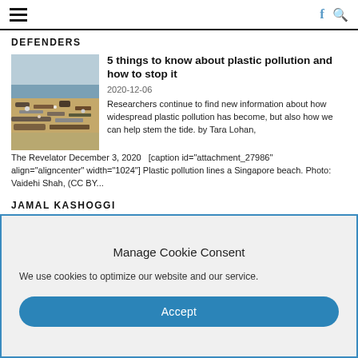DEFENDERS
5 things to know about plastic pollution and how to stop it
2020-12-06
Researchers continue to find new information about how widespread plastic pollution has become, but also how we can help stem the tide. by Tara Lohan, The Revelator December 3, 2020  [caption id="attachment_27986" align="aligncenter" width="1024"] Plastic pollution lines a Singapore beach. Photo: Vaidehi Shah, (CC BY...
JAMAL KASHOGGI
Manage Cookie Consent
We use cookies to optimize our website and our service.
Accept